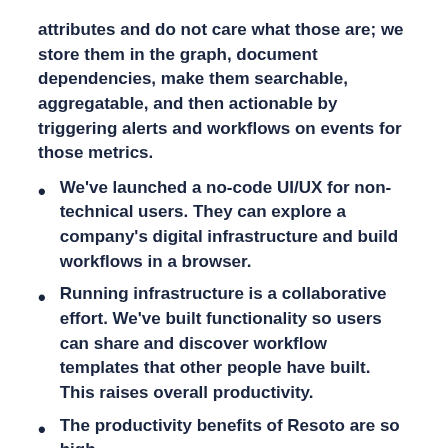attributes and do not care what those are; we store them in the graph, document dependencies, make them searchable, aggregatable, and then actionable by triggering alerts and workflows on events for those metrics.
We've launched a no-code UI/UX for non-technical users. They can explore a company's digital infrastructure and build workflows in a browser.
Running infrastructure is a collaborative effort. We've built functionality so users can share and discover workflow templates that other people have built. This raises overall productivity.
The productivity benefits of Resoto are so high